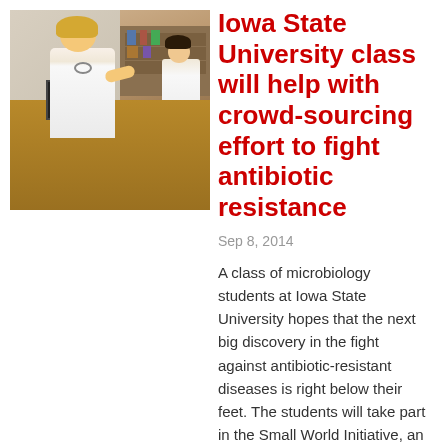[Figure (photo): Lab photo showing a woman with blonde hair in a white coat working at a computer monitor at a wooden desk, with other students in white coats visible in the background in a science laboratory setting.]
Iowa State University class will help with crowd-sourcing effort to fight antibiotic resistance
Sep 8, 2014
A class of microbiology students at Iowa State University hopes that the next big discovery in the fight against antibiotic-resistant diseases is right below their feet. The students will take part in the Small World Initiative, an effort that allows science students at universities all over the world to seek out novel microorganisms that produce antimicrobial